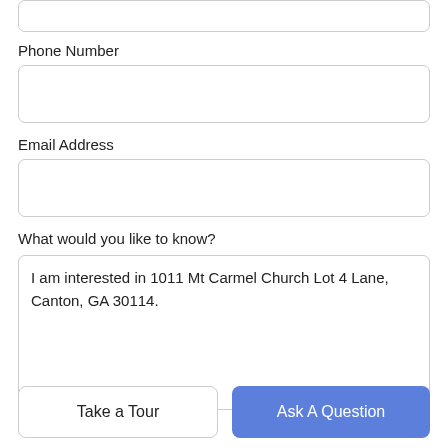[Figure (screenshot): Partial top input box (cropped at top of page)]
Phone Number
[Figure (screenshot): Phone Number input field (empty)]
Email Address
[Figure (screenshot): Email Address input field (empty)]
What would you like to know?
[Figure (screenshot): Text area with pre-filled text: I am interested in 1011 Mt Carmel Church Lot 4 Lane, Canton, GA 30114.]
Take a Tour
Ask A Question